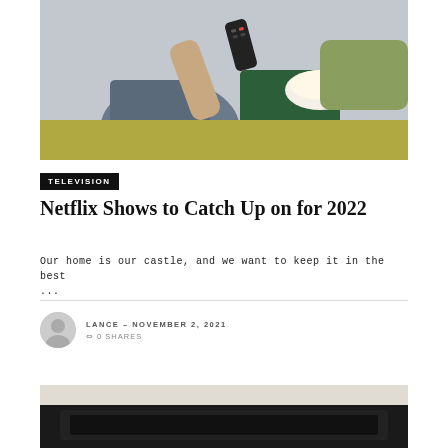[Figure (photo): Two people sitting on a couch, one holding a TV remote control toward the camera, the other holding popcorn, with a yellow/green pillow in the background]
TELEVISION
Netflix Shows to Catch Up on for 2022
Our home is our castle, and we want to keep it in the best ...
LANCE – NOVEMBER 2, 2021
↔ 0 SHARES
[Figure (photo): Partial view of a dark electronic device or TV, bottom of page]